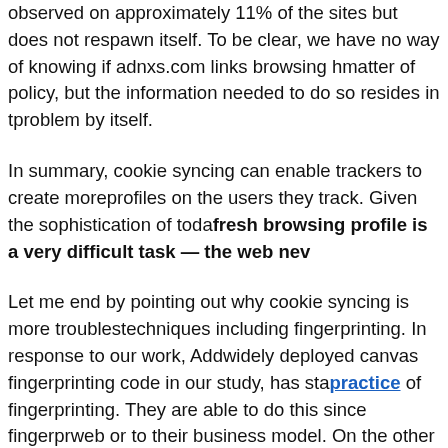observed on approximately 11% of the sites but does not respawn itself. To be clear, we have no way of knowing if adnxs.com links browsing histories as a matter of policy, but the information needed to do so resides in their servers. A problem by itself.
In summary, cookie syncing can enable trackers to create more complete profiles on the users they track. Given the sophistication of today's tracking, maintaining a fresh browsing profile is a very difficult task — the web never forgets.
Let me end by pointing out why cookie syncing is more troublesome than other techniques including fingerprinting. In response to our work, AddThis, which had the widely deployed canvas fingerprinting code in our study, has stated they stopped the practice of fingerprinting. They are able to do this since fingerprinting is not core to the web or to their business model. On the other hand, cookie syncing is core to online ads; despite its privacy risks, it's not realistic to expect that it will go away. How to move forward?
Technical solutions like cookie double-keying or list-based and tools can help prevent cookie syncing to the extent they prevent